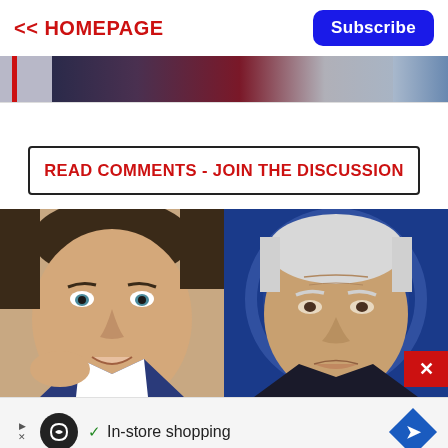<< HOMEPAGE   Subscribe
[Figure (photo): Partial banner image showing figures against a dark background with red and blue tones, with a red vertical bar on the left]
READ COMMENTS - JOIN THE DISCUSSION
[Figure (photo): Two photos side by side: left shows Ron DeSantis close-up face, right shows Joe Biden close-up face against a blue background with circular design]
In-store shopping